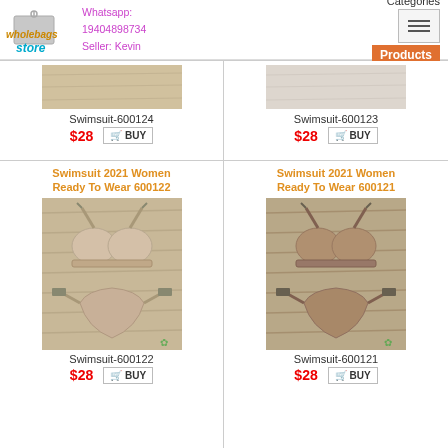Wholebags Store | Whatsapp: 19404898734 | Seller: Kevin | Categories | Products
Swimsuit-600124
$28
BUY
Swimsuit-600123
$28
BUY
Swimsuit 2021 Women Ready To Wear 600122
[Figure (photo): Beige/nude two-piece bikini swimsuit laid flat on wooden surface]
Swimsuit-600122
$28
BUY
Swimsuit 2021 Women Ready To Wear 600121
[Figure (photo): Brown/taupe two-piece bikini swimsuit laid flat on wooden surface]
Swimsuit-600121
$28
BUY